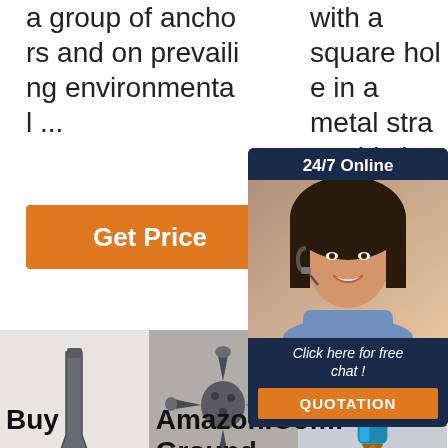a group of anchors and on prevailing environmental ...
with a square hole in a metal strap. This is a useful feature for installation
[Figure (screenshot): Orange Get Price button]
[Figure (screenshot): Partial orange Get Price button (G visible)]
[Figure (screenshot): 24/7 Online chat popup overlay with customer service agent photo, Click here for free chat, and QUOTATION button]
[Figure (photo): Metal chisel or ground anchor tool on white background]
[Figure (photo): Metal multi-arm ground anchor or drill bit on grey background]
[Figure (photo): Blue and gold ground anchor tool with TOP watermark logo]
Buy
Amazon.Com: Ground